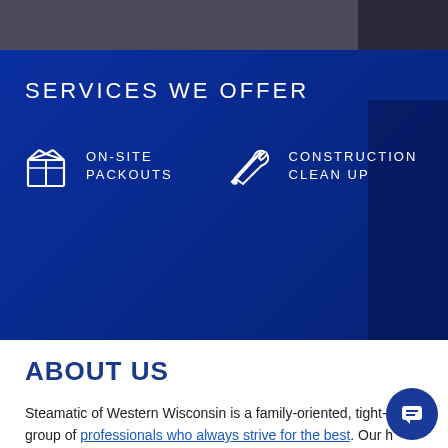[Figure (photo): Dark photo strip at top of page, appears to show an interior space]
SERVICES WE OFFER
[Figure (illustration): White icon of a box/packout package]
ON-SITE PACKOUTS
[Figure (illustration): White icon of crossed wrench and screwdriver tools]
CONSTRUCTION CLEAN UP
ABOUT US
Steamatic of Western Wisconsin is a family-oriented, tight-knit group of professionals who always strive for the best. Our high quality work and extraordinary customer service will make you feel like you have been working with us for ages. You will feel like we are a part of your family because if you work with us, you become a